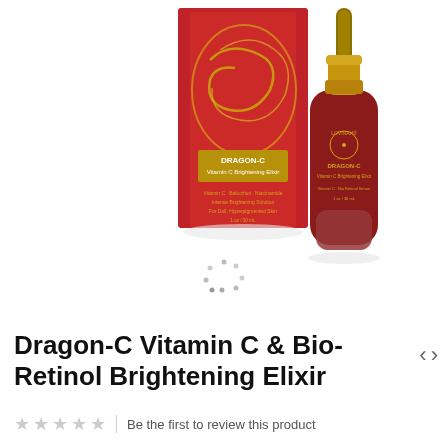[Figure (photo): Product photo of LOVINAH Dragon-C Vitamin C Brightening Elixir showing a red box with gold dragon design next to a dark red glass dropper bottle with gold cap on white background]
Dragon-C Vitamin C & Bio-Retinol Brightening Elixir
Be the first to review this product